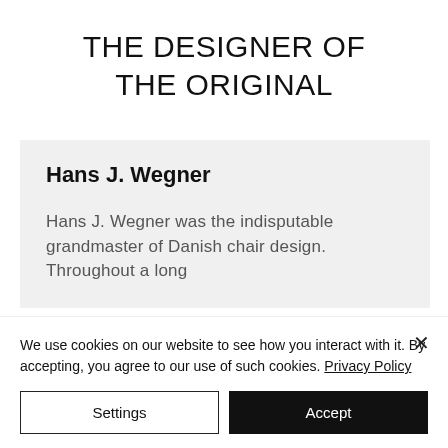THE DESIGNER OF THE ORIGINAL
Hans J. Wegner
Hans J. Wegner was the indisputable grandmaster of Danish chair design. Throughout a long
We use cookies on our website to see how you interact with it. By accepting, you agree to our use of such cookies. Privacy Policy
Settings
Accept